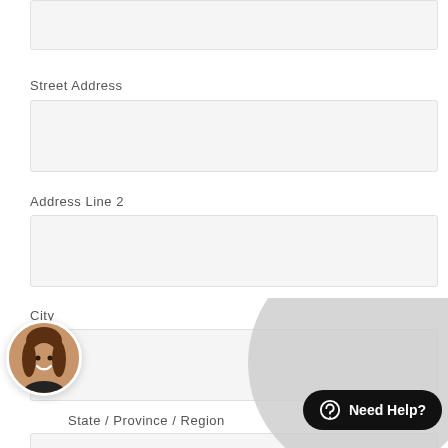[Figure (other): Partially visible form input field at top of page]
Street Address
[Figure (other): Street Address input field (empty)]
Address Line 2
[Figure (other): Address Line 2 input field (empty)]
City
[Figure (other): City input field (empty)]
State / Province / Region
[Figure (other): State/Province/Region input field (partially visible)]
[Figure (other): Live chat widget with avatar photo of smiling woman and 'Need Help?' button]